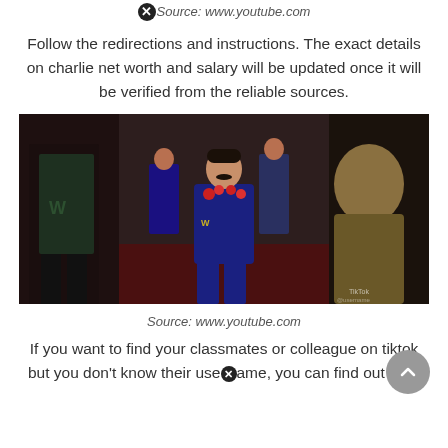Source: www.youtube.com
Follow the redirections and instructions. The exact details on charlie net worth and salary will be updated once it will be verified from the reliable sources.
[Figure (photo): A person wearing a blue tracksuit and a flower garland walking, surrounded by people in a festive setting. TikTok watermark visible.]
Source: www.youtube.com
If you want to find your classmates or colleague on tiktok but you don't know their username, you can find out from